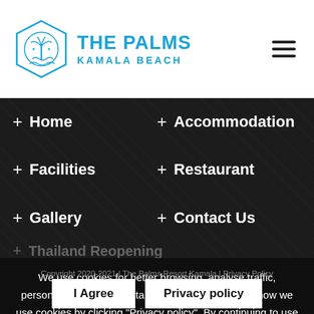[Figure (logo): The Palms Kamala Beach logo with diamond-shaped emblem containing palm tree and waves]
THE PALMS KAMALA BEACH
+ Home
+ Accommodation
+ Facilities
+ Restaurant
+ Gallery
+ Contact Us
+ Thailand Reopening
We use cookies for better browsing, analyse traffic, personalise content and targeted ads. Read about how we use cookies by clicking "Privacy policy". By continuing to use this site you consent to our use of cookies.
Copyright 2020-2021 | The Palms Resort Kamala | Privacy Policy